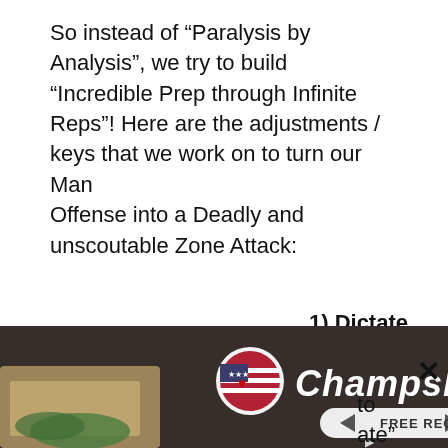So instead of “Paralysis by Analysis”, we try to build “Incredible Prep through Infinite Reps”! Here are the adjustments / keys that we work on to turn our Man Offense into a Deadly and unscoutable Zone Attack:
1) Dictate
We always
to ate” e the
[Figure (other): ChampsDiet advertisement banner with logo, FREE RECIPES button, food imagery including bread, tomatoes, herbs, pasta, and dark background with text 'ChampsDiet']